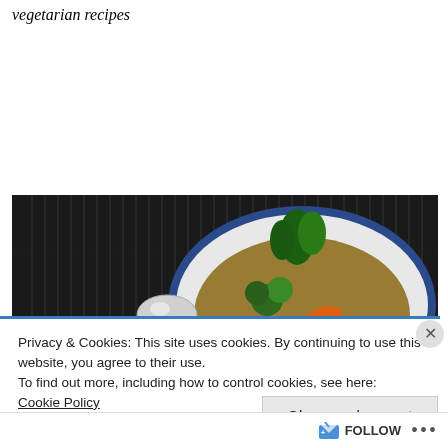vegetarian recipes
[Figure (photo): A bowl of vegetable soup with noodles, carrots, broccoli and green herbs, with a silver spoon beside it, on a dark bamboo mat background.]
Privacy & Cookies: This site uses cookies. By continuing to use this website, you agree to their use.
To find out more, including how to control cookies, see here:
Cookie Policy
Close and accept
FOLLOW